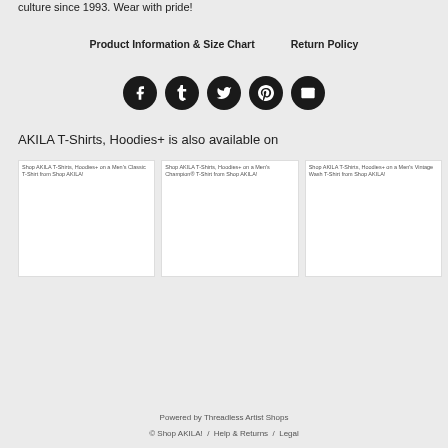culture since 1993. Wear with pride!
Product Information & Size Chart     Return Policy
[Figure (infographic): Social sharing icons: Facebook, Tumblr, Twitter, Pinterest, Email — dark circular buttons]
AKILA T-Shirts, Hoodies+ is also available on
[Figure (screenshot): Three product cards side by side: Shop AKILA T-Shirts, Hoodies+ on a Men's Classic T-Shirt from Shop AKILA! / Shop AKILA T-Shirts, Hoodies+ on a Men's Champion® T-Shirt from Shop AKILA! / Shop AKILA T-Shirts, Hoodies+ on a Men's Vintage Wash T-Shirt from Shop AKILA!]
Powered by Threadless Artist Shops
© Shop AKILA! / Help & Returns / Legal